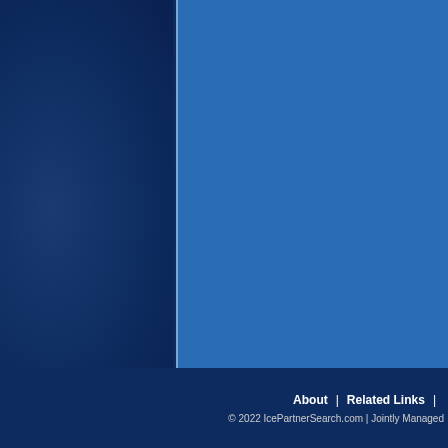[Figure (screenshot): Website background with dark navy blue left panel and medium blue right panel separated by a light blue vertical dividing line. The page appears to be a partial view of the IcePartnerSearch.com website.]
About | Related Links | © 2022 IcePartnerSearch.com | Jointly Managed